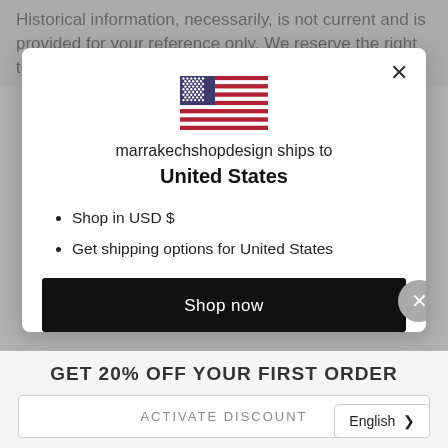Historical information, necessarily, is not current and is provided for your reference only. We reserve the right to
[Figure (screenshot): Modal dialog showing US flag, text 'marrakechshopdesign ships to United States', bullet points about USD and shipping options, and a 'Shop now' button with a circular close button]
GET 20% OFF YOUR FIRST ORDER
ACTIVATE DISCOUNT
English >